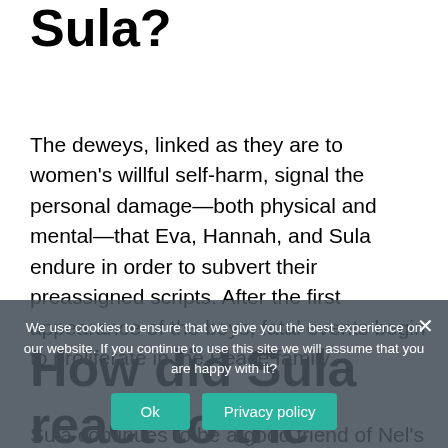Sula?
The deweys, linked as they are to women's willful self-harm, signal the personal damage—both physical and mental—that Eva, Hannah, and Sula endure in order to subvert their preassigned scripts. After the first appearance of the boys, fatal events begin to proliferate in the Peace family.
How did Sula react to the wedding?
Sula continues to be a good friend of Nel's
We use cookies to ensure that we give you the best experience on our website. If you continue to use this site we will assume that you are happy with it?